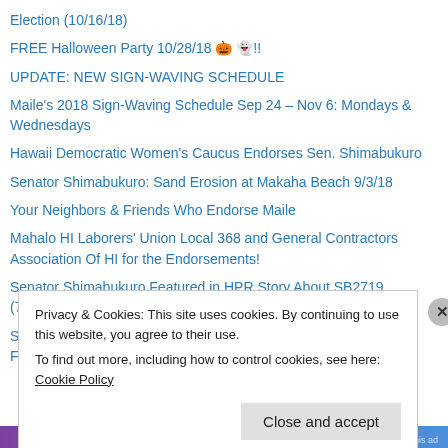Election (10/16/18)
FREE Halloween Party 10/28/18 🎃 👻!!
UPDATE: NEW SIGN-WAVING SCHEDULE
Maile's 2018 Sign-Waving Schedule Sep 24 – Nov 6: Mondays & Wednesdays
Hawaii Democratic Women's Caucus Endorses Sen. Shimabukuro
Senator Shimabukuro: Sand Erosion at Makaha Beach 9/3/18
Your Neighbors & Friends Who Endorse Maile
Mahalo HI Laborers' Union Local 368 and General Contractors Association Of HI for the Endorsements!
Senator Shimabukuro Featured in HPR Story About SB2719 (7/12/18)
Senator Shimabukuro's Efforts on Behalf of Sexual Abuse Victims Featured in 'PEW Stateline' 7/31/18
Privacy & Cookies: This site uses cookies. By continuing to use this website, you agree to their use. To find out more, including how to control cookies, see here: Cookie Policy
Close and accept